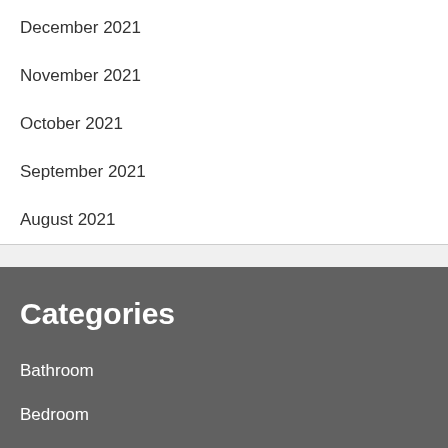December 2021
November 2021
October 2021
September 2021
August 2021
Categories
Bathroom
Bedroom
Budget